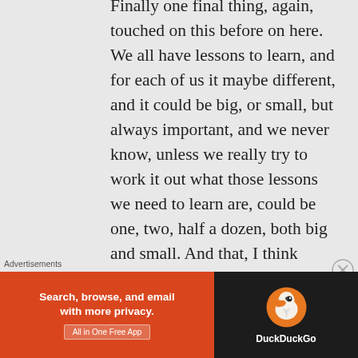Finally one final thing, again, touched on this before on here. We all have lessons to learn, and for each of us it maybe different, and it could be big, or small, but always important, and we never know, unless we really try to work it out what those lessons we need to learn are, could be one, two, half a dozen, both big and small. And that, I think anyway, is all to do with the Wholeness and Complete, but there is always something to learn, right, so when our Life is complete, it is complete. I could go on about me and mine, and I will not go on about where
Advertisements
[Figure (other): DuckDuckGo advertisement banner. Left side: orange/red background with text 'Search, browse, and email with more privacy.' and 'All in One Free App' button. Right side: dark background with DuckDuckGo duck logo and brand name.]